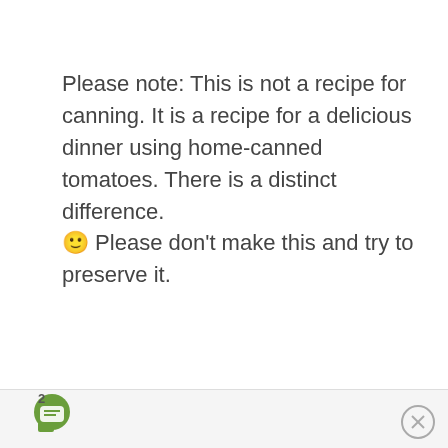Please note: This is not a recipe for canning. It is a recipe for a delicious dinner using home-canned tomatoes. There is a distinct difference. 🙂 Please don't make this and try to preserve it.
-- Advertisement --